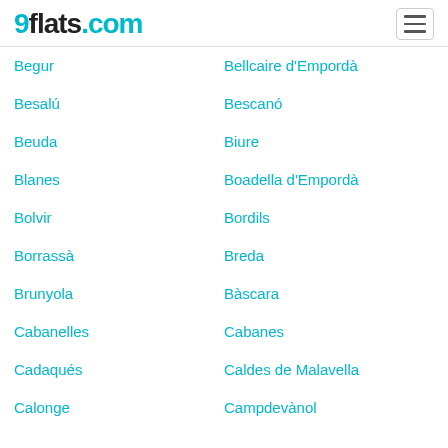9flats.com
Begur
Bellcaire d'Empordà
Besalú
Bescanó
Beuda
Biure
Blanes
Boadella d'Empordà
Bolvir
Bordils
Borrassà
Breda
Brunyola
Bàscara
Cabanelles
Cabanes
Cadaqués
Caldes de Malavella
Calonge
Campdevànol